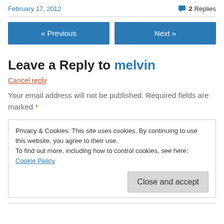February 17, 2012   2 Replies
Leave a Reply to melvin
Cancel reply
Your email address will not be published. Required fields are marked *
Privacy & Cookies: This site uses cookies. By continuing to use this website, you agree to their use.
To find out more, including how to control cookies, see here: Cookie Policy
Close and accept